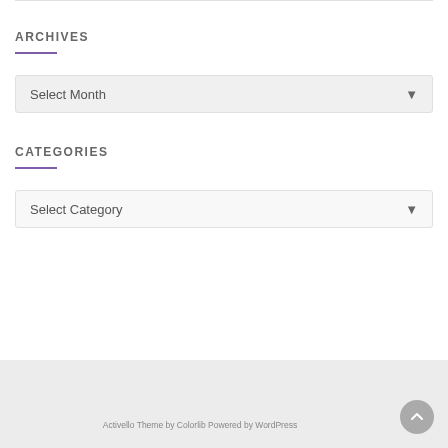ARCHIVES
Select Month
CATEGORIES
Select Category
Activello Theme by Colorlib Powered by WordPress